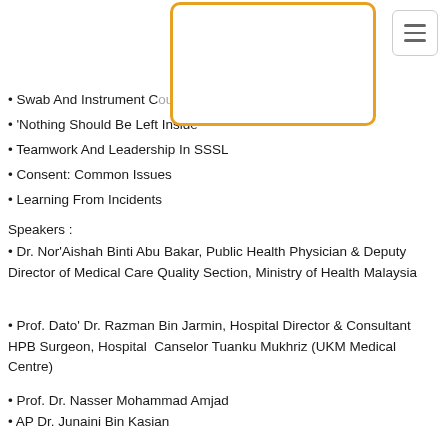• Swab And Instrument C[ount]
• 'Nothing Should Be Left Inside
• Teamwork And Leadership In SSSL
• Consent: Common Issues
• Learning From Incidents
Speakers :
• Dr. Nor'Aishah Binti Abu Bakar, Public Health Physician & Deputy Director of Medical Care Quality Section, Ministry of Health Malaysia
• Prof. Dato' Dr. Razman Bin Jarmin, Hospital Director & Consultant HPB Surgeon, Hospital Canselor Tuanku Mukhriz (UKM Medical Centre)
• Prof. Dr. Nasser Mohammad Amjad
• AP Dr. Junaini Bin Kasian
• Dr. Ahmad Faidzal Bin Othman
• AP Dr. Islah Bin Munjih
• Brother Izzul Irfan Bin Ahmad Nizam
FOR REGISTRATION : CLICK THIS LINK :https://docs.google.com/forms/d/e/1FAIpQLSeA0PBaH-tevr-7...